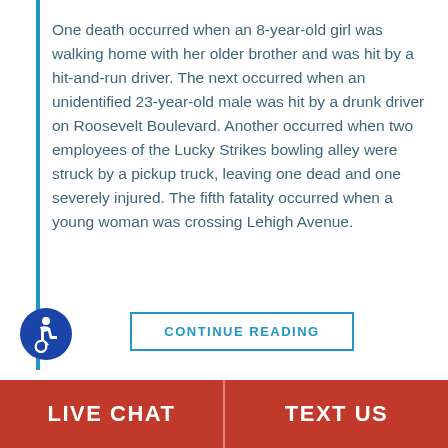One death occurred when an 8-year-old girl was walking home with her older brother and was hit by a hit-and-run driver. The next occurred when an unidentified 23-year-old male was hit by a drunk driver on Roosevelt Boulevard. Another occurred when two employees of the Lucky Strikes bowling alley were struck by a pickup truck, leaving one dead and one severely injured. The fifth fatality occurred when a young woman was crossing Lehigh Avenue.
CONTINUE READING
[Figure (illustration): Accessibility icon — blue circle with white wheelchair user symbol]
LIVE CHAT   TEXT US